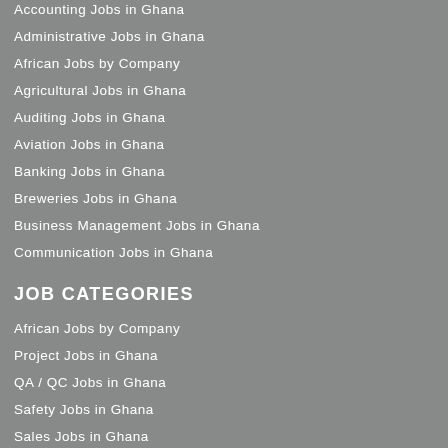Accounting Jobs in Ghana
Administrative Jobs in Ghana
African Jobs by Company
Agricultural Jobs in Ghana
Auditing Jobs in Ghana
Aviation Jobs in Ghana
Banking Jobs in Ghana
Breweries Jobs in Ghana
Business Management Jobs in Ghana
Communication Jobs in Ghana
JOB CATEGORIES
African Jobs by Company
Project Jobs in Ghana
QA / QC Jobs in Ghana
Safety Jobs in Ghana
Sales Jobs in Ghana
Software Jobs in Ghana